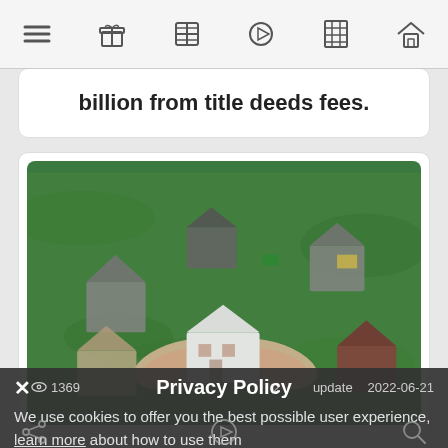Navigation bar with menu, gift, globe, play, building, and home icons
billion from title deeds fees.
[Figure (photo): Photo of hands holding a miniature white house model on green grass, surrounded by other small house models]
1369  2 ...update  2022-06-21
Privacy Policy
We use cookies to offer you the best possible user experience, learn more about how to use them